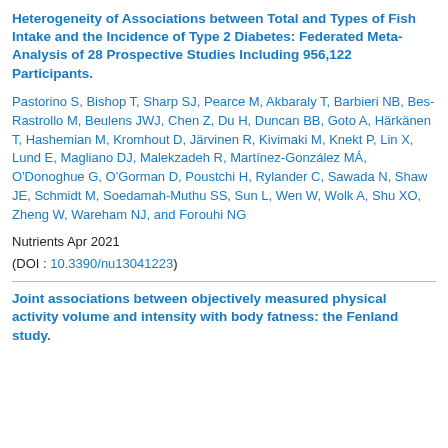Heterogeneity of Associations between Total and Types of Fish Intake and the Incidence of Type 2 Diabetes: Federated Meta-Analysis of 28 Prospective Studies Including 956,122 Participants.
Pastorino S, Bishop T, Sharp SJ, Pearce M, Akbaraly T, Barbieri NB, Bes-Rastrollo M, Beulens JWJ, Chen Z, Du H, Duncan BB, Goto A, Härkänen T, Hashemian M, Kromhout D, Järvinen R, Kivimaki M, Knekt P, Lin X, Lund E, Magliano DJ, Malekzadeh R, Martínez-González MÁ, O'Donoghue G, O'Gorman D, Poustchi H, Rylander C, Sawada N, Shaw JE, Schmidt M, Soedamah-Muthu SS, Sun L, Wen W, Wolk A, Shu XO, Zheng W, Wareham NJ, and Forouhi NG
Nutrients Apr 2021
(DOI : 10.3390/nu13041223)
Joint associations between objectively measured physical activity volume and intensity with body fatness: the Fenland study.